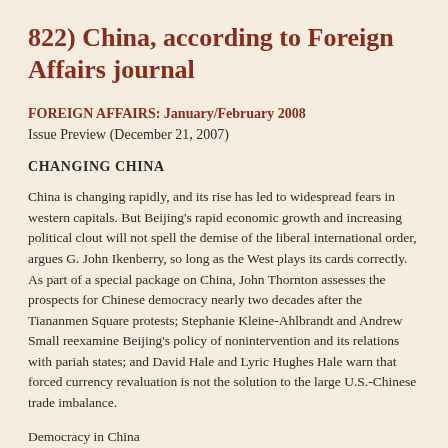822) China, according to Foreign Affairs journal
FOREIGN AFFAIRS: January/February 2008
Issue Preview (December 21, 2007)
CHANGING CHINA
China is changing rapidly, and its rise has led to widespread fears in western capitals. But Beijing's rapid economic growth and increasing political clout will not spell the demise of the liberal international order, argues G. John Ikenberry, so long as the West plays its cards correctly. As part of a special package on China, John Thornton assesses the prospects for Chinese democracy nearly two decades after the Tiananmen Square protests; Stephanie Kleine-Ahlbrandt and Andrew Small reexamine Beijing's policy of nonintervention and its relations with pariah states; and David Hale and Lyric Hughes Hale warn that forced currency revaluation is not the solution to the large U.S.-Chinese trade imbalance.
Democracy in China